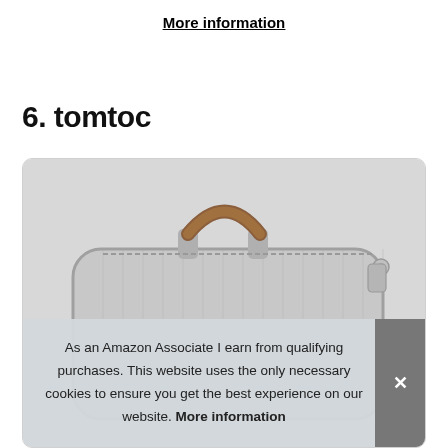More information
6. tomtoc
[Figure (photo): A gray fabric laptop sleeve/bag with a brown leather handle on top and a silver zipper, photographed from the side.]
As an Amazon Associate I earn from qualifying purchases. This website uses the only necessary cookies to ensure you get the best experience on our website. More information